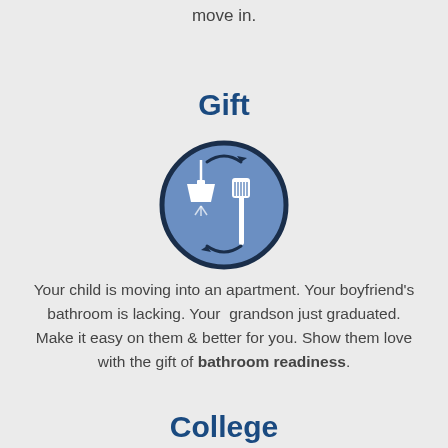move in.
Gift
[Figure (illustration): A circular icon with a dark navy border and blue fill, showing a pendant lamp on the left and a toilet brush on the right, connected by circular arrows indicating exchange or gift.]
Your child is moving into an apartment. Your boyfriend's bathroom is lacking. Your grandson just graduated. Make it easy on them & better for you. Show them love with the gift of bathroom readiness.
College